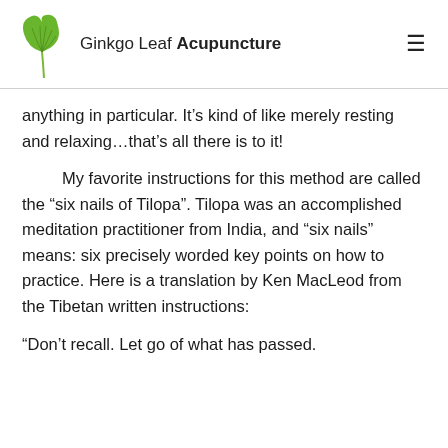Ginkgo Leaf Acupuncture
anything in particular. It’s kind of like merely resting and relaxing…that’s all there is to it!
My favorite instructions for this method are called the “six nails of Tilopa”. Tilopa was an accomplished meditation practitioner from India, and “six nails” means: six precisely worded key points on how to practice. Here is a translation by Ken MacLeod from the Tibetan written instructions:
“Don’t recall. Let go of what has passed.